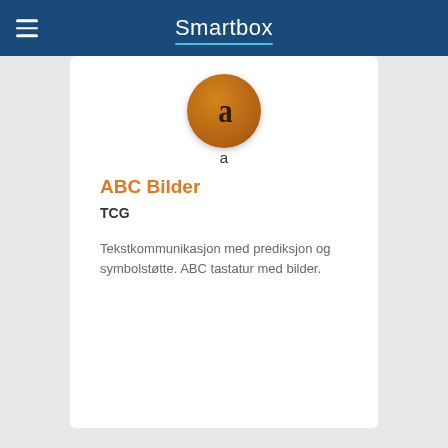Smartbox
[Figure (logo): Circular brown/orange app icon with stylized letter 'a' inside, with a small 'a' below the circle]
ABC Bilder
TCG
Tekstkommunikasjon med prediksjon og symbolstøtte. ABC tastatur med bilder.